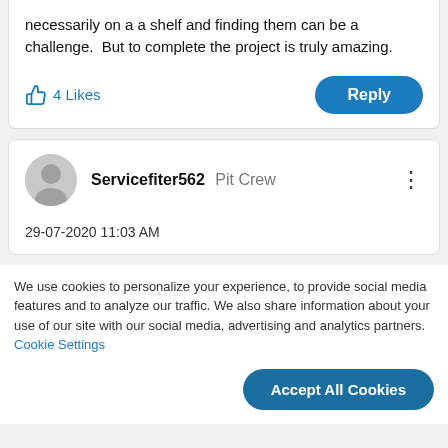necessarily on a a shelf and finding them can be a challenge. But to complete the project is truly amazing.
4 Likes
Reply
Servicefiter562  Pit Crew
29-07-2020 11:03 AM
We use cookies to personalize your experience, to provide social media features and to analyze our traffic. We also share information about your use of our site with our social media, advertising and analytics partners. Cookie Settings
Accept All Cookies